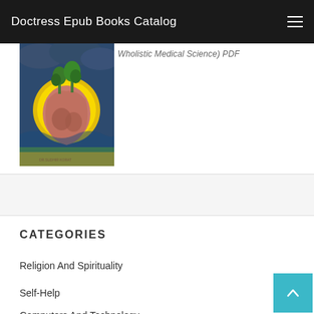Doctress Epub Books Catalog
[Figure (illustration): Book cover illustration showing a stylized human torso/anatomical stomach shape with trees growing from the top, set against a glowing yellow circle and dark stormy sky background, with green and yellow landscape at the bottom. Text reads 'DR.SUDHIR KORAT' at bottom.]
Wholistic Medical Science) PDF
CATEGORIES
Religion And Spirituality
Self-Help
Computers And Technology